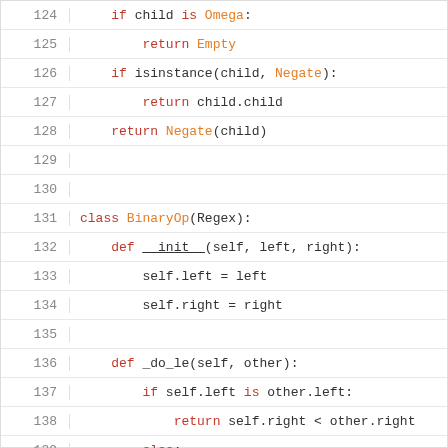[Figure (screenshot): Python source code snippet showing lines 124-143, including a Negate class method and a BinaryOp class definition with __init__ and _do_le methods.]